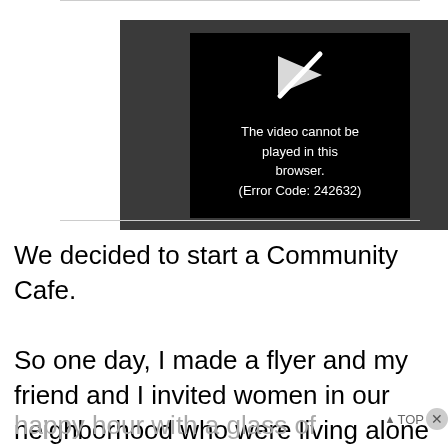[Figure (screenshot): Video player showing an error message on a black screen with a crossed-out play icon. Text reads: 'The video cannot be played in this browser. (Error Code: 242632)']
We decided to start a Community Cafe. So one day, I made a flyer and my friend and I invited women in our neighborhood who were living alone for a late afternoon happy hour with a glass of wine and nibbles to talk about how we could...